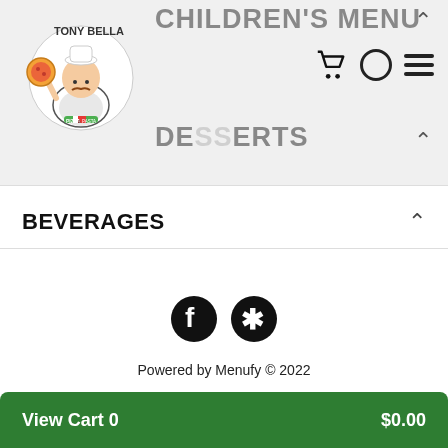CHILDREN'S MENU | DESSERTS — Tony Bella Pizza & Pasta House
BEVERAGES
[Figure (logo): Tony Bella Pizza & Pasta House logo with chef character holding pizza]
Powered by Menufy © 2022
Accessibility  Terms  Help  Privacy
View Cart 0  $0.00